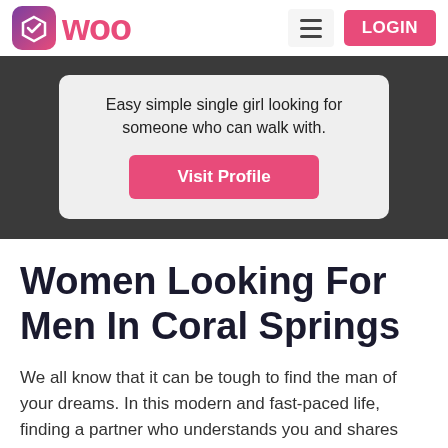Woo | LOGIN
Easy simple single girl looking for someone who can walk with.
Visit Profile
Women Looking For Men In Coral Springs
We all know that it can be tough to find the man of your dreams. In this modern and fast-paced life, finding a partner who understands you and shares your worries and